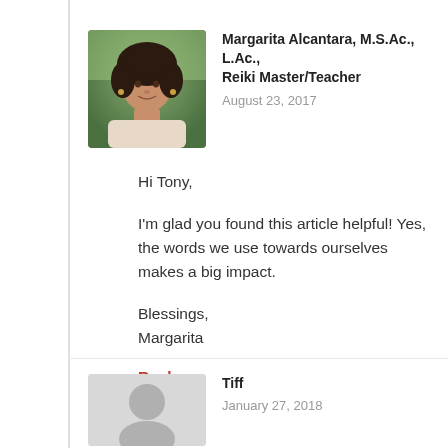[Figure (photo): Profile photo of Margarita Alcantara, a woman with curly dark hair, outdoors background]
Margarita Alcantara, M.S.Ac., L.Ac., Reiki Master/Teacher
August 23, 2017
Hi Tony,
I'm glad you found this article helpful! Yes, the words we use towards ourselves makes a big impact.
Blessings,
Margarita
Reply
[Figure (photo): Default gray avatar silhouette for user Tiff]
Tiff
January 27, 2018